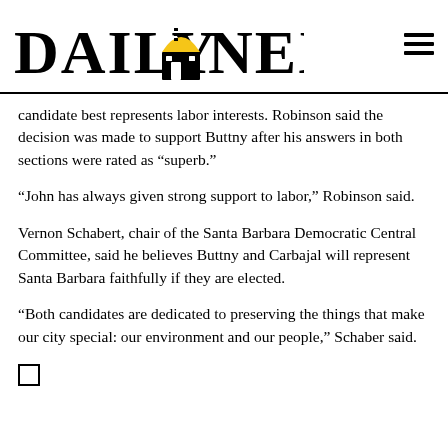Daily Nexus
candidate best represents labor interests. Robinson said the decision was made to support Buttny after his answers in both sections were rated as “superb.”
“John has always given strong support to labor,” Robinson said.
Vernon Schabert, chair of the Santa Barbara Democratic Central Committee, said he believes Buttny and Carbajal will represent Santa Barbara faithfully if they are elected.
“Both candidates are dedicated to preserving the things that make our city special: our environment and our people,” Schaber said.